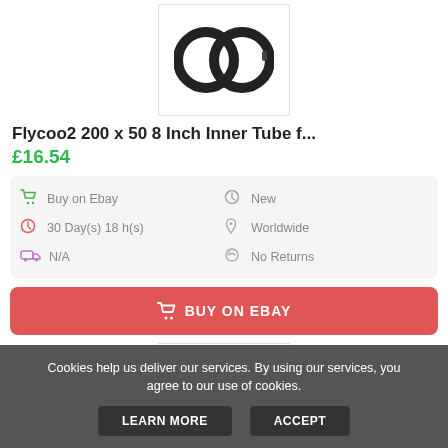[Figure (photo): Product image of two black inner tubes for an 8-inch wheel, shown in a white bordered box at the top of the page.]
Flycoo2 200 x 50 8 Inch Inner Tube f...
£16.54
| 🛒 Buy on Ebay | 👍 New |
| 🕐 30 Day(s) 18 h(s) | 📍 Worldwide |
| 🚚 N/A | 🔄 No Returns |
🛒 BUY ON EBAY
[Figure (photo): Partial product image of a second listing at the bottom of the page.]
Cookies help us deliver our services. By using our services, you agree to our use of cookies.
LEARN MORE
ACCEPT